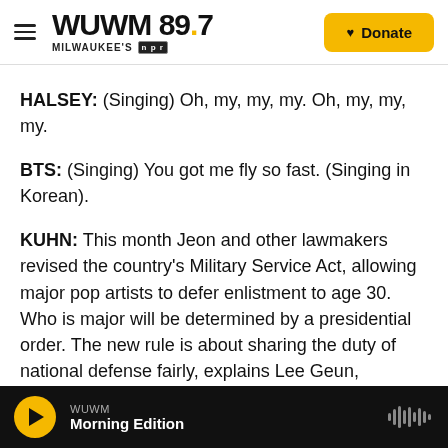WUWM 89.7 Milwaukee's NPR — Donate
HALSEY: (Singing) Oh, my, my, my. Oh, my, my, my.
BTS: (Singing) You got me fly so fast. (Singing in Korean).
KUHN: This month Jeon and other lawmakers revised the country's Military Service Act, allowing major pop artists to defer enlistment to age 30. Who is major will be determined by a presidential order. The new rule is about sharing the duty of national defense fairly, explains Lee Geun, president of the Korea Foundation. But he adds it's
WUWM — Morning Edition